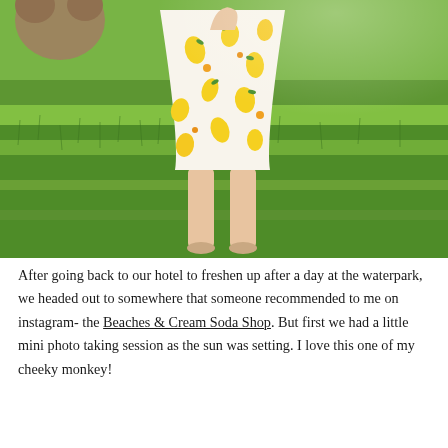[Figure (photo): A young child standing on bright green grass wearing a white dress with yellow lemon print pattern. The child is barefoot. In the upper left, a stuffed animal or toy is partially visible. The photo is taken from below waist level showing the child's legs and dress against a vibrant green lawn in warm sunlight.]
After going back to our hotel to freshen up after a day at the waterpark, we headed out to somewhere that someone recommended to me on instagram- the Beaches & Cream Soda Shop. But first we had a little mini photo taking session as the sun was setting. I love this one of my cheeky monkey!